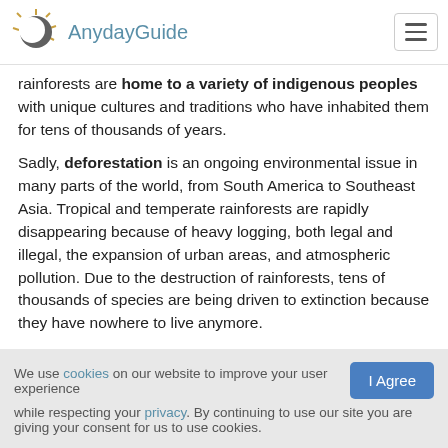AnydayGuide
rainforests are home to a variety of indigenous peoples with unique cultures and traditions who have inhabited them for tens of thousands of years.
Sadly, deforestation is an ongoing environmental issue in many parts of the world, from South America to Southeast Asia. Tropical and temperate rainforests are rapidly disappearing because of heavy logging, both legal and illegal, the expansion of urban areas, and atmospheric pollution. Due to the destruction of rainforests, tens of thousands of species are being driven to extinction because they have nowhere to live anymore.
World Rainforest Day was inaugurated in 2017 by Rainforest Partnership, an international nonprofit devoted to the conservation
We use cookies on our website to improve your user experience while respecting your privacy. By continuing to use our site you are giving your consent for us to use cookies.